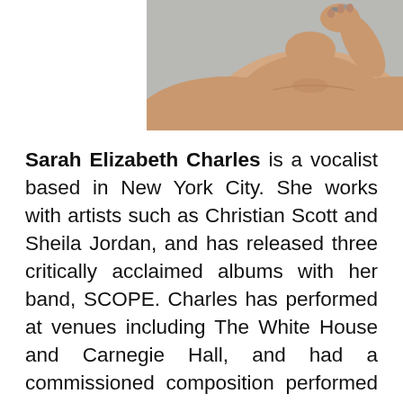[Figure (photo): Portrait photo of Sarah Elizabeth Charles, a young woman with short dark hair, bare shoulders, holding something near her face with rings on her fingers, against a gray background. Only the upper portion of her body is visible as the image is cropped.]
Sarah Elizabeth Charles is a vocalist based in New York City. She works with artists such as Christian Scott and Sheila Jordan, and has released three critically acclaimed albums with her band, SCOPE. Charles has performed at venues including The White House and Carnegie Hall, and had a commissioned composition performed at The National Gallery in Washington D.C. Charles teaches at Carnegie Hall's Sing Sing Correctional Facility and has developed a music education program with Rise2Shine, a non-profit organization